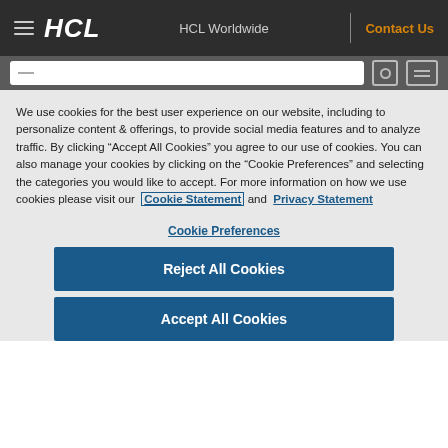HCL | HCL Worldwide | Contact Us
We use cookies for the best user experience on our website, including to personalize content & offerings, to provide social media features and to analyze traffic. By clicking “Accept All Cookies” you agree to our use of cookies. You can also manage your cookies by clicking on the “Cookie Preferences” and selecting the categories you would like to accept. For more information on how we use cookies please visit our Cookie Statement and Privacy Statement
Cookie Preferences
Reject All Cookies
Accept All Cookies